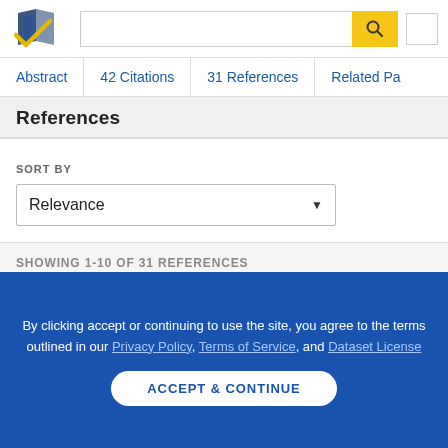[Figure (screenshot): Semantic Scholar logo — stylized book pages in dark blue and gold checkmark]
Abstract | 42 Citations | 31 References | Related Pa...
References
SORT BY
Relevance
SHOWING 1-10 OF 31 REFERENCES
By clicking accept or continuing to use the site, you agree to the terms outlined in our Privacy Policy, Terms of Service, and Dataset License
ACCEPT & CONTINUE